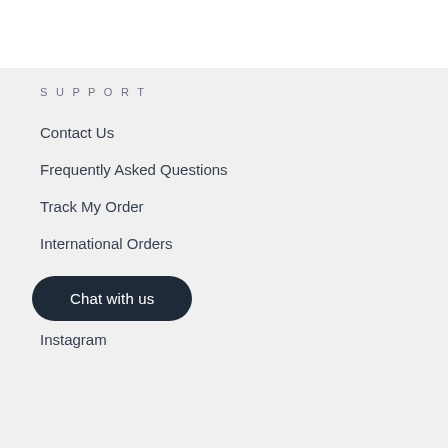SUPPORT
Contact Us
Frequently Asked Questions
Track My Order
International Orders
Chat with us
Instagram